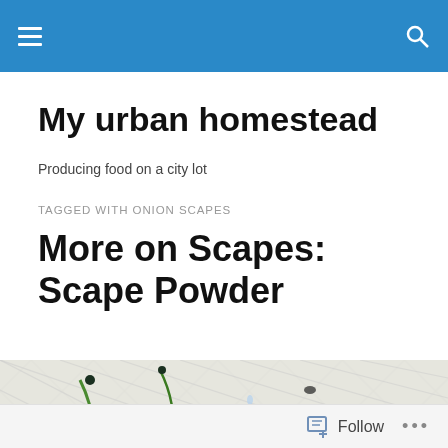My urban homestead — navigation bar
My urban homestead
Producing food on a city lot
TAGGED WITH ONION SCAPES
More on Scapes: Scape Powder
[Figure (photo): Photo of garlic/onion scapes laid out on a floral fabric background, showing curling green stems with small dark buds and orange poppy flowers in the background]
Follow  ...